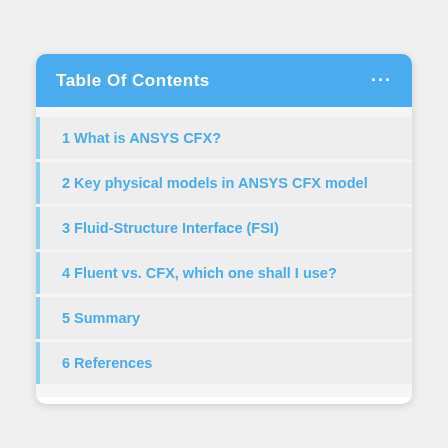Table Of Contents
1 What is ANSYS CFX?
2 Key physical models in ANSYS CFX model
3 Fluid-Structure Interface (FSI)
4 Fluent vs. CFX, which one shall I use?
5 Summary
6 References